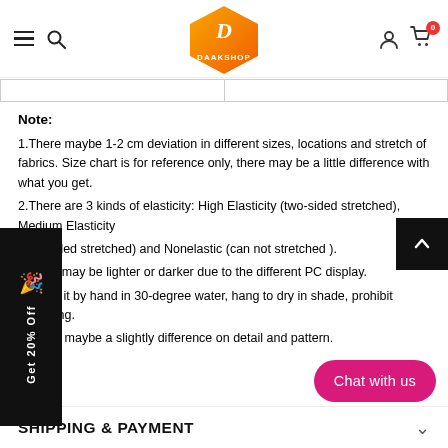[Figure (logo): Daakshop logo - orange/yellow hexagon with D monogram and DAAKSHOP text]
Note:
1.There maybe 1-2 cm deviation in different sizes, locations and stretch of fabrics. Size chart is for reference only, there may be a little difference with what you get.
2.There are 3 kinds of elasticity: High Elasticity (two-sided stretched), Medium Elasticity (one-sided stretched) and Nonelastic (can not stretched ).
3.Color may be lighter or darker due to the different PC display.
4.Wash it by hand in 30-degree water, hang to dry in shade, prohibit bleaching.
5.There maybe a slightly difference on detail and pattern.
SHIPPING & PAYMENT